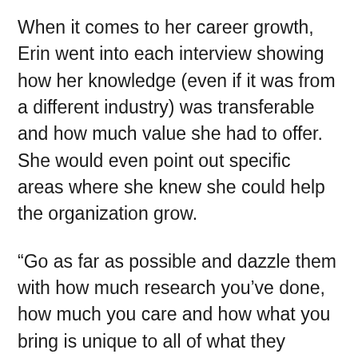When it comes to her career growth, Erin went into each interview showing how her knowledge (even if it was from a different industry) was transferable and how much value she had to offer. She would even point out specific areas where she knew she could help the organization grow.
"Go as far as possible and dazzle them with how much research you've done, how much you care and how what you bring is unique to all of what they need," said Erin.
Today as the Director of Communications for The Bell Policy Center, Erin works to ensure every Coloradan has economic mobility. Erin is able to connect with her community through her